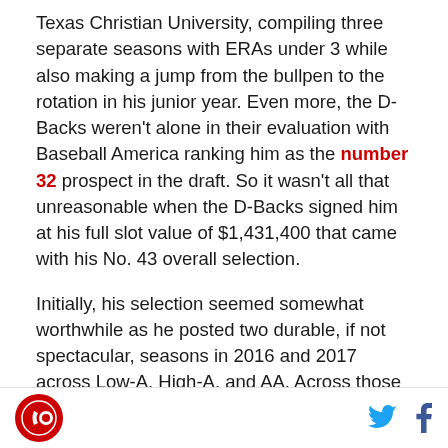Texas Christian University, compiling three separate seasons with ERAs under 3 while also making a jump from the bullpen to the rotation in his junior year. Even more, the D-Backs weren't alone in their evaluation with Baseball America ranking him as the number 32 prospect in the draft. So it wasn't all that unreasonable when the D-Backs signed him at his full slot value of $1,431,400 that came with his No. 43 overall selection.
Initially, his selection seemed somewhat worthwhile as he posted two durable, if not spectacular, seasons in 2016 and 2017 across Low-A, High-A, and AA. Across those two seasons, he managed ERAs of 3.56 and 3.68 over 118.2 and 137.0 IP before seeing his run prevention take a significant hit in 2018 with an only
[logo] [twitter] [facebook]